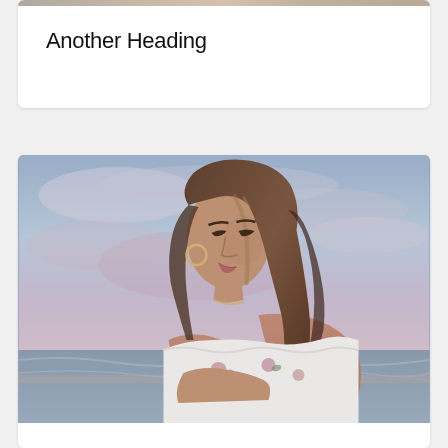[Figure (photo): Top of page: partial view of a photo card, cropped at top edge]
Another Heading
[Figure (photo): Young woman with long brown hair wearing an off-shoulder floral top, standing at a beach during sunset/dusk with pastel purple and blue sky behind her, looking downward with a slight smile]
Heading Continues